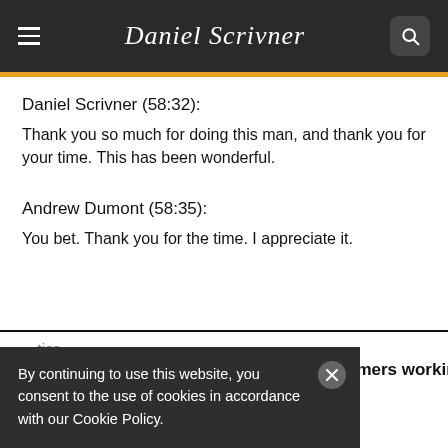[Figure (screenshot): Daniel Scrivner website navigation bar with hamburger menu, cursive logo 'Daniel Scrivner', and search icon on dark background]
Daniel Scrivner (58:32):
Thank you so much for doing this man, and thank you for your time. This has been wonderful.
Andrew Dumont (58:35):
You bet. Thank you for the time. I appreciate it.
By continuing to use this website, you consent to the use of cookies in accordance with our Cookie Policy.
...tics, routines, and habits of world-class performers working